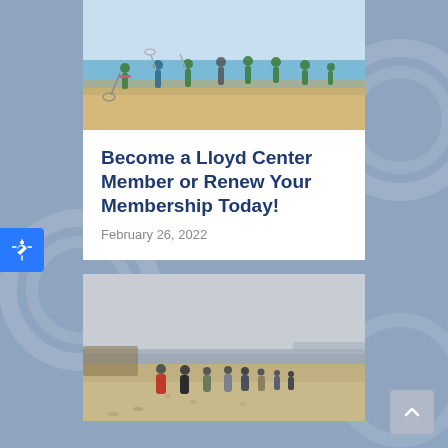[Figure (photo): Children in green shirts standing on a sandy beach near the water, holding nets and paddles, on a sunny day.]
Become a Lloyd Center Member or Renew Your Membership Today!
February 26, 2022
[Figure (photo): Group of adults walking on a sandy beach on a cloudy day, with coastal scenery in the background.]